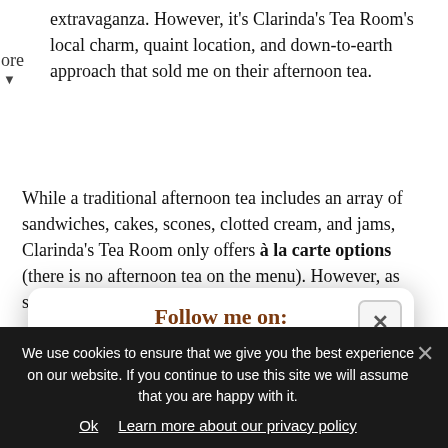extravaganza. However, it's Clarinda's Tea Room's local charm, quaint location, and down-to-earth approach that sold me on their afternoon tea.
While a traditional afternoon tea includes an array of sandwiches, cakes, scones, clotted cream, and jams, Clarinda's Tea Room only offers à la carte options (there is no afternoon tea on the menu). However, as someone who much prefers the cakes and scones over the...
[Figure (infographic): Social media follow popup modal with title 'Follow me on:' in handwritten brown font, a close button (x), social media icons in pink circles for Facebook, Instagram, Pinterest, Twitter, Bloglovin, and RSS, and partial text 'Or sign up to my newsletter' in handwritten brown font]
We use cookies to ensure that we give you the best experience on our website. If you continue to use this site we will assume that you are happy with it.
Ok   Learn more about our privacy policy